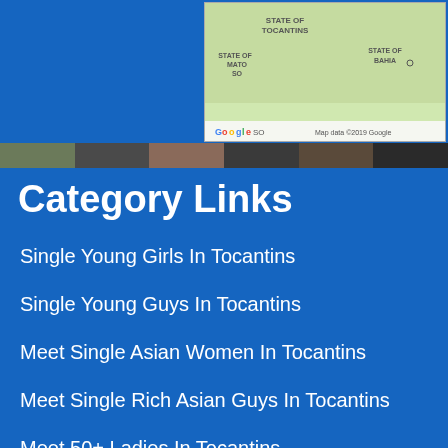[Figure (map): Google Maps screenshot showing State of Tocantins, State of Mato Grosso (MATO SO), and State of Bahia regions in Brazil. Shows Google logo and 'Map data ©2019 Google' credit.]
Category Links
Single Young Girls In Tocantins
Single Young Guys In Tocantins
Meet Single Asian Women In Tocantins
Meet Single Rich Asian Guys In Tocantins
Meet 50+ Ladies In Tocantins
Meet Jewish Guys In Tocantins
Meet Tattoo Girls From Tocantins